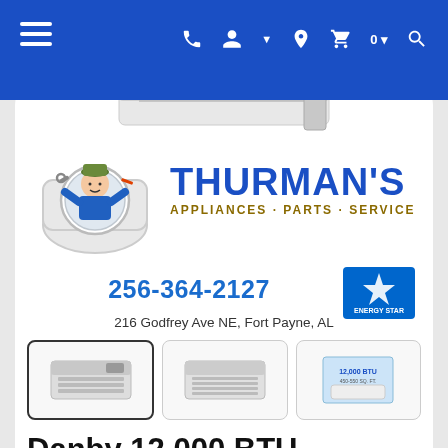Thurman's Appliances website header with navigation icons
[Figure (logo): Thurman's Appliances Parts Service logo with cartoon mechanic mascot and blue block text]
256-364-2127
[Figure (logo): ENERGY STAR badge/logo]
216 Godfrey Ave NE, Fort Payne, AL
[Figure (photo): Three product thumbnail images of Danby window air conditioner unit]
Danby 12,000 BTU Window Air Conditioner with